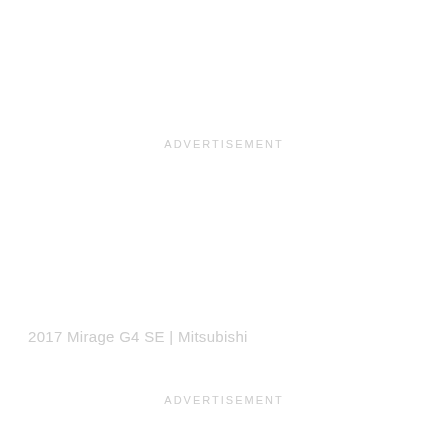ADVERTISEMENT
2017 Mirage G4 SE | Mitsubishi
ADVERTISEMENT